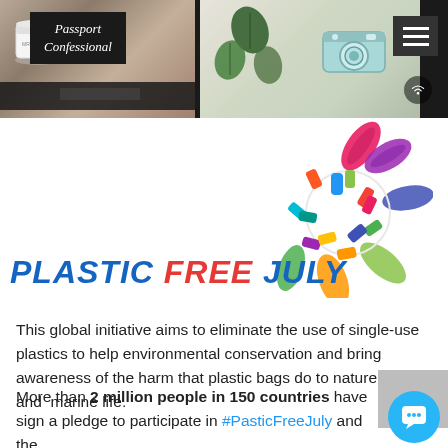[Figure (screenshot): Website header banner for 'Passport Confessional' blog with dark background, photos of a mug and camera, leaf decorations, blog title in white italic text, hamburger menu button, and wifi icon]
[Figure (logo): Plastic Free July logo: colorful turtle made of plastic items with text 'PLASTIC FREE JULY' in blue and red italic bold font]
This global initiative aims to eliminate the use of single-use plastics to help environmental conservation and bring awareness of the harm that plastic bags do to nature, animals and marine life.
More than 2 million people in 150 countries have sign a pledge to participate in #PasticFreeJuly and the